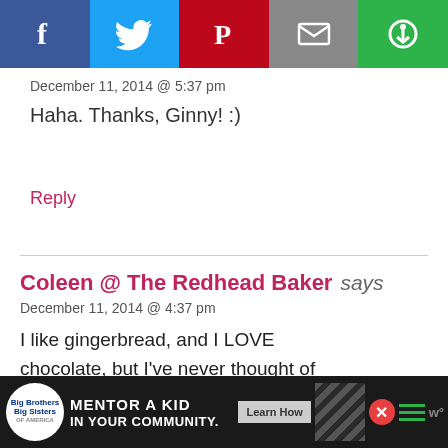[Figure (screenshot): Social share bar with Facebook, Twitter, Pinterest, Email, and another share button icons]
December 11, 2014 @ 5:37 pm
Haha. Thanks, Ginny! :)
Reply
Coleen @ The Redhead Baker says
December 11, 2014 @ 4:37 pm
I like gingerbread, and I LOVE chocolate, but I've never thought of pairing them together.
Reply
Scroll to top
Erin replies to Coleen @ The Redhead Baker
[Figure (infographic): Big Brothers Big Sisters advertisement banner: MENTOR A KID IN YOUR COMMUNITY. Learn How button. Close X button.]